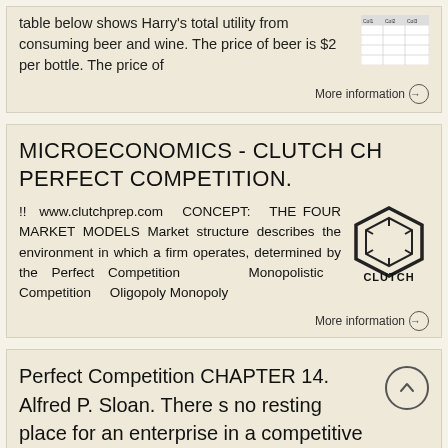table below shows Harry's total utility from consuming beer and wine. The price of beer is $2 per bottle. The price of
More information →
MICROECONOMICS - CLUTCH CH PERFECT COMPETITION.
!! www.clutchprep.com CONCEPT: THE FOUR MARKET MODELS Market structure describes the environment in which a firm operates, determined by the Perfect Competition Monopolistic Competition Oligopoly Monopoly
[Figure (logo): Clutch hexagonal logo with CLUTCH text]
More information →
Perfect Competition CHAPTER 14. Alfred P. Sloan. There s no resting place for an enterprise in a competitive economy.